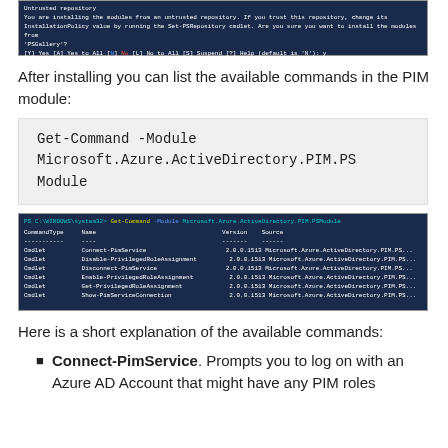[Figure (screenshot): PowerShell terminal showing untrusted repository warning with options [Y] Yes [A] Yes to All [N] No [L] No to All [S] Suspend [?] Help (default is 'N'): y]
After installing you can list the available commands in the PIM module:
Get-Command -Module Microsoft.Azure.ActiveDirectory.PIM.PSModule
[Figure (screenshot): PowerShell terminal showing Get-Command output listing cmdlets: Connect-PimService, Disable-PrivilegedRoleAssignment, Disconnect-PimService, Enable-PrivilegedRoleAssignment, Get-PrivilegedRoleAssignment, Show-PimServiceConnection with version 2.0.0.1513 and source Microsoft.Azure.ActiveDirectory.PIM.PS...]
Here is a short explanation of the available commands:
Connect-PimService. Prompts you to log on with an Azure AD Account that might have any PIM roles